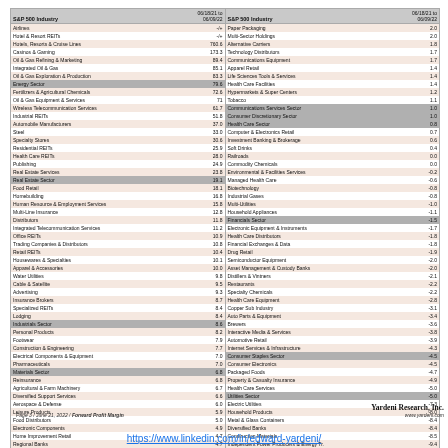| S&P 500 Industry | 06/18/21 to 06/09/22 | S&P 500 Industry | 06/18/21 to 06/09/22 |
| --- | --- | --- | --- |
| Airlines | -/+ | Paper Packaging | 2.0 |
| Hotel & Resort REITs | -/+ | Multi-Sector Holdings | 2.0 |
| Hotels, Resorts & Cruise Lines | 760.6 | Alternative Carriers | 1.8 |
| Casinos & Gaming | 173.3 | Technology Distributors | 1.7 |
| Oil & Gas Refining & Marketing | 89.4 | Communications Equipment | 1.7 |
| Integrated Oil & Gas | 85.1 | Apparel Retail | 1.4 |
| Oil & Gas Exploration & Production | 83.3 | Life Sciences Tools & Services | 1.4 |
| Energy Sector | 79.6 | Health Care Facilities | 1.4 |
| Fertilizers & Agricultural Chemicals | 72.6 | Hypermarkets & Super Centers | 1.2 |
| Oil & Gas Equipment & Services | 71 | Tobacco | 1.1 |
| Wireless Telecommunication Services | 61.7 | Communications Services Sector | 1.0 |
| Industrial REITs | 51.8 | Consumer Discretionary Sector | 1.0 |
| Automobile Manufacturers | 37.0 | Health Care Sector | 0.8 |
| Steel | 33.0 | Computer & Electronics Retail | 0.7 |
| Specialty Stores | 30.6 | Investment Banking & Brokerage | 0.6 |
| Residential REITs | 25.9 | Soft Drinks | 0.4 |
| Health Care REITs | 28.0 | Railroads | 0.0 |
| Publishing | 24.9 | Commodity Chemicals | 0.0 |
| Real Estate Services | 23.8 | Environmental & Facilities Services | -0.2 |
| Real Estate Sector | 19.1 | Managed Health Care | -0.6 |
| Food Retail | 18.1 | Biotechnology | -0.8 |
| Homebuilding | 16.8 | Industrial Gases | -0.8 |
| Human Resource & Employment Services | 15.8 | Multi-Utilities | -1.0 |
| Multi-Line Insurance | 12.8 | Household Appliances | -1.1 |
| Distributors | 11.8 | Financials Sector | -1.5 |
| Integrated Telecommunication Services | 11.2 | Electronic Equipment & Instruments | -1.7 |
| Office REITs | 10.9 | Health Care Distributors | -1.8 |
| Trading Companies & Distributors | 10.8 | Financial Exchanges & Data | -1.8 |
| Retail REITs | 10.4 | Drug Retail | -1.9 |
| Housewares & Specialties | 10.1 | Semiconductor Equipment | -2.0 |
| Apparel & Accessories | 10.0 | Asset Management & Custody Banks | -2.0 |
| Water Utilities | 9.8 | Distillers & Vintners | -2.1 |
| Cable & Satellite | 9.5 | Restaurants | -2.2 |
| Advertising | 9.3 | Specialty Chemicals | -2.2 |
| Insurance Brokers | 8.7 | Health Care Equipment | -2.8 |
| Specialized REITs | 8.4 | Copper Sub Industry | -3.1 |
| Lodging | 8.4 | Auto Parts & Equipment | -3.4 |
| Industrials Sector | 8.6 | Brewers | -3.6 |
| Personal Products | 8.2 | Interactive Media & Services | -3.8 |
| Footwear | 7.9 | Automotive Retail | -3.9 |
| Construction & Engineering | 7.7 | Internet Services & Infrastructure | -4.3 |
| Electrical Components & Equipment | 7.0 | Consumer Staples Sector | -4.5 |
| Pharmaceuticals | 7.0 | Consumer Electronics | -4.5 |
| Materials Sector | 6.8 | Packaged Foods | -4.7 |
| Reinsurance | 6.8 | Property & Casualty Insurance | -4.9 |
| Agricultural & Farm Machinery | 6.7 | Health Care Services | -5.0 |
| Diversified Support Services | 6.6 | Utilities Sector | -5.0 |
| Aerospace & Defense | 6.0 | Electric Utilities | -7.3 |
| Leisure Products | 5.9 | Household Products | -8.0 |
| Food Distributors | 5.0 | Metal & Glass Containers | -8.4 |
| Electronic Components | 4.9 | Diversified Banks | -8.4 |
| Home Improvement Retail | 4.7 | Construction Materials | -8.5 |
| Regional Banks | 4.7 | Independent Power Producers & Energy Tr. | -9.4 |
| Information Technology Sector | 4.5 | Research & Consulting Services | -9.7 |
| Construction Machinery & Heavy Trucks | 4.4 | Consumer Finance | -9.8 |
| S&P 500 | 4.4 | Health Care Supplies | -12.3 |
| Home Furnishings | 4.2 | General Merchandise Stores | -12.7 |
| Semiconductors | 3.7 | Interactive Home Entertainment | -13.1 |
| Electronic Manufacturing Services | 3.7 | Gold | -13.8 |
| Application Software | 3.6 | Movies & Entertainment | -14.3 |
| Agricultural Products | 3.5 | Oil & Gas Storage & Transportation | -15.5 |
| Industrial Conglomerates | 3.3 | Broadcasting | -37.1 |
| Systems Software | 3.1 | Internet & Direct Marketing Retail | -60.8 |
| Building Products | 3.1 |  |  |
| Industrial Machinery | 2.8 |  |  |
| Gas Utilities | 2.8 |  |  |
| Life & Health Insurance | 2.7 |  |  |
| IT Consulting & Other Services | 2.5 |  |  |
| Data Processing & Outsourced Services | 2.2 |  |  |
| Air Freight & Couriers | 2.1 |  |  |
Page 3 / June 21, 2022 / Forward Profit Margin
Yardeni Research, Inc. www.yardeni.com
https://www.linkedin.com/in/edward-yardeni/